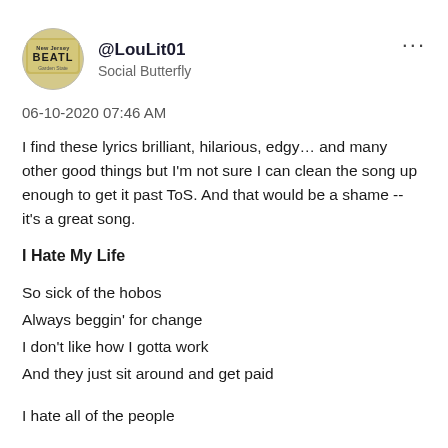[Figure (photo): Circular avatar image showing a New Jersey license plate reading BEATL, Garden State]
@LouLit01
Social Butterfly
06-10-2020 07:46 AM
I find these lyrics brilliant, hilarious, edgy… and many other good things but I'm not sure I can clean the song up enough to get it past ToS. And that would be a shame -- it's a great song.
I Hate My Life
So sick of the hobos
Always beggin' for change
I don't like how I gotta work
And they just sit around and get paid
I hate all of the people